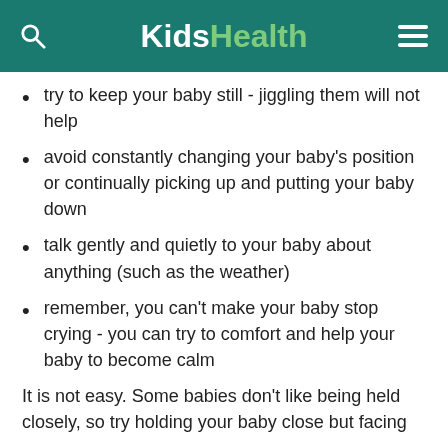KidsHealth
try to keep your baby still - jiggling them will not help
avoid constantly changing your baby's position or continually picking up and putting your baby down
talk gently and quietly to your baby about anything (such as the weather)
remember, you can't make your baby stop crying - you can try to comfort and help your baby to become calm
It is not easy. Some babies don't like being held closely, so try holding your baby close but facing